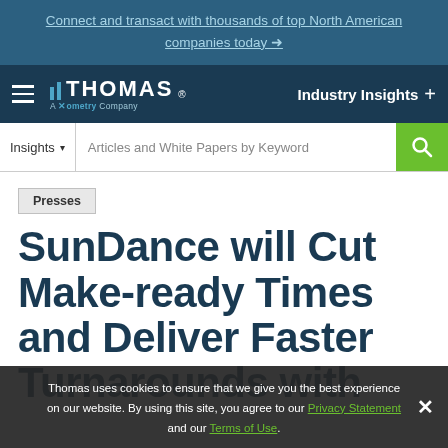Connect and transact with thousands of top North American companies today →
[Figure (logo): Thomas - A Xometry Company logo with navigation bar showing Industry Insights]
Insights  Articles and White Papers by Keyword
Presses
SunDance will Cut Make-ready Times and Deliver Faster Turnarounds with
Thomas uses cookies to ensure that we give you the best experience on our website. By using this site, you agree to our Privacy Statement and our Terms of Use.